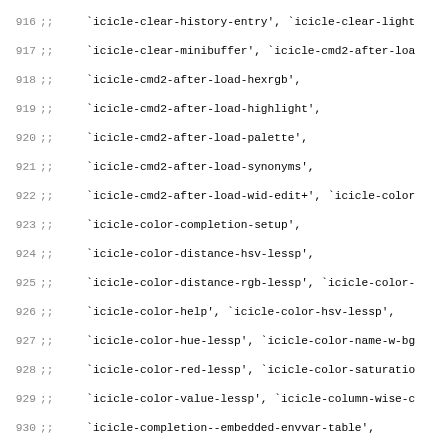Code listing lines 916-947 showing icicle-* function/symbol names in a Lisp-style comment block